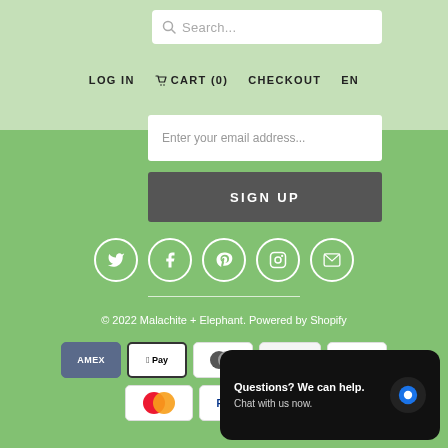Search...
LOG IN  CART (0)  CHECKOUT  EN
Enter your email address...
SIGN UP
[Figure (infographic): Social media icons in white circles: Twitter, Facebook, Pinterest, Instagram, Email]
© 2022 Malachite + Elephant. Powered by Shopify
[Figure (infographic): Payment method badges: AMEX, Apple Pay, Diners Club, Discover, Google Pay, Mastercard, PayPal, and one partially visible]
Questions? We can help. Chat with us now.